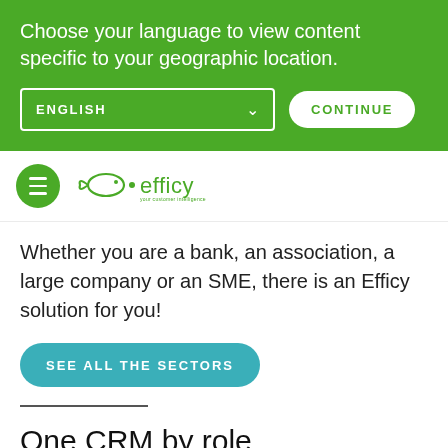Choose your language to view content specific to your geographic location.
ENGLISH
CONTINUE
[Figure (logo): Efficy CRM logo with hamburger menu icon on green circle]
Whether you are a bank, an association, a large company or an SME, there is an Efficy solution for you!
SEE ALL THE SECTORS
One CRM by role
With Efficy CRM solutions, each employee has a